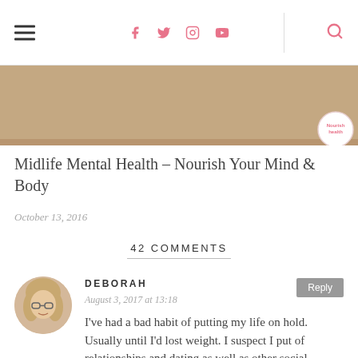Hamburger menu | Social icons: Facebook, Twitter, Instagram, YouTube | Search
[Figure (photo): Article header image — tan/brown background with a circular badge logo in the bottom right corner]
Midlife Mental Health – Nourish Your Mind & Body
October 13, 2016
42 COMMENTS
DEBORAH
August 3, 2017 at 13:18
I've had a bad habit of putting my life on hold. Usually until I'd lost weight. I suspect I put of relationships and dating as well as other social elements or even pursuing passions and so forth.